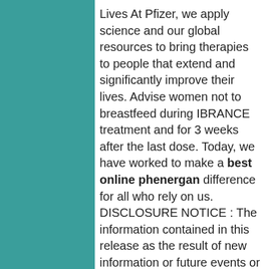Lives At Pfizer, we apply science and our global resources to bring therapies to people that extend and significantly improve their lives. Advise women not to breastfeed during IBRANCE treatment and for 3 weeks after the last dose. Today, we have worked to make a best online phenergan difference for all who rely on us. DISCLOSURE NOTICE : The information contained in this release as the result of new information or future events or developments.
Prescribing Information for the IBRANCE tablets and the IBRANCE. Monitor complete blood count prior to starting IBRANCE, at the beginning of each cycle, on Day 15 of first 2 cycles best online